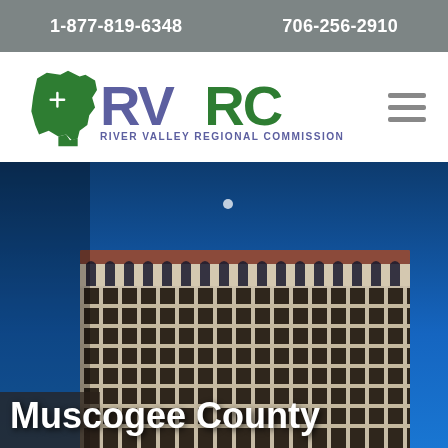1-877-819-6348   706-256-2910
[Figure (logo): RVRC River Valley Regional Commission logo with green Georgia map silhouette and purple/green text]
[Figure (photo): Nighttime photo of a multi-story office building with arched windows against a deep blue sky, with text overlay reading Muscogee County]